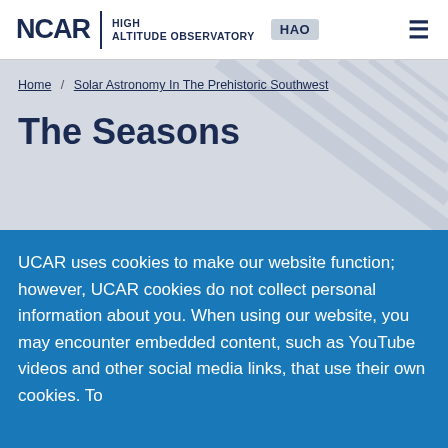NCAR HIGH ALTITUDE OBSERVATORY HAO
Home / Solar Astronomy In The Prehistoric Southwest
The Seasons
UCAR uses cookies to make our website function; however, UCAR cookies do not collect personal information about you. When using our website, you may encounter embedded content, such as YouTube videos and other social media links, that use their own cookies. To